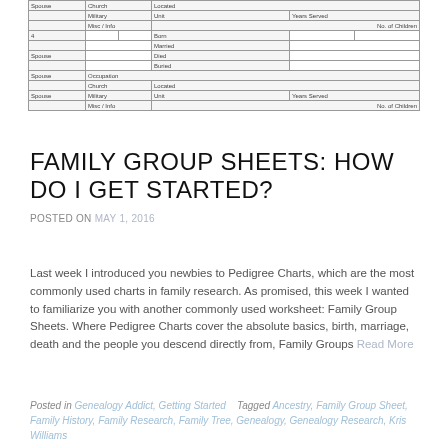[Figure (table-as-image): Bottom portion of a family group sheet form showing rows for Spouse, item 4, Spouse entries with fields for Church, Located, Military, Unit, Years Served, Misc/Info, No. of Children, Born, Married, Died, Buried, Occupation fields]
FAMILY GROUP SHEETS: HOW DO I GET STARTED?
POSTED ON MAY 1, 2016
Last week I introduced you newbies to Pedigree Charts, which are the most commonly used charts in family research. As promised, this week I wanted to familiarize you with another commonly used worksheet: Family Group Sheets. Where Pedigree Charts cover the absolute basics, birth, marriage, death and the people you descend directly from, Family Groups Read More
Posted in Genealogy Addict, Getting Started   Tagged Ancestry, Family Group Sheet, Family History, Family Research, Family Tree, Genealogy, Genealogy Research, Kris Williams